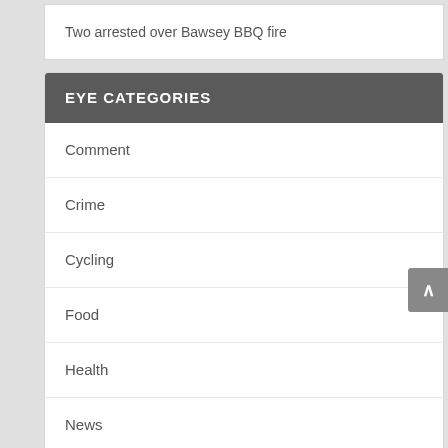Two arrested over Bawsey BBQ fire
EYE CATEGORIES
Comment
Crime
Cycling
Food
Health
News
Politics